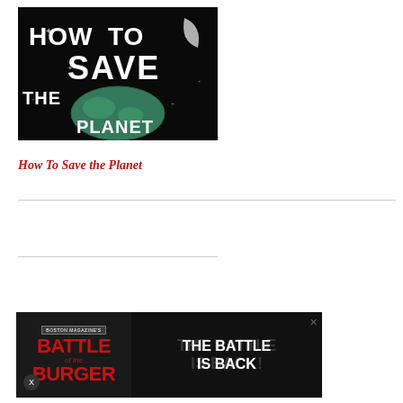[Figure (illustration): Dark background book cover illustration showing 'HOW TO SAVE THE PLANET' text with a globe and moon graphic]
How To Save the Planet
[Figure (infographic): Advertisement banner for 'Battle of the Burger' with text 'THE BATTLE IS BACK' on dark background]